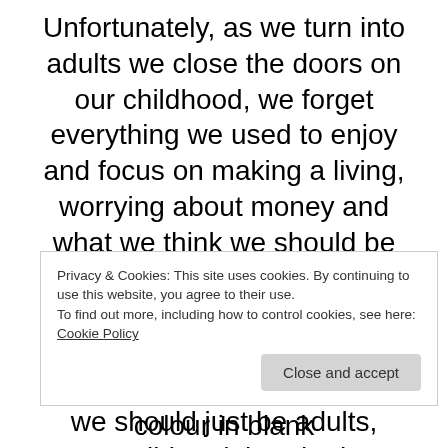Unfortunately, as we turn into adults we close the doors on our childhood, we forget everything we used to enjoy and focus on making a living, worrying about money and what we think we should be doing with our lives. We tell ourselves that everything we did when we were children should be left in the past and we should just be adults, responsible adults who have lots of important decisions to
Privacy & Cookies: This site uses cookies. By continuing to use this website, you agree to their use. To find out more, including how to control cookies, see here: Cookie Policy
drawing and using felt tips to colour in blank